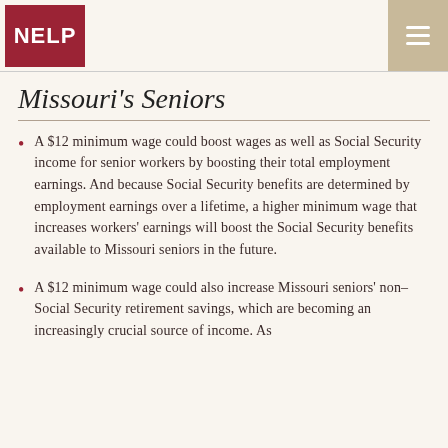NELP
Missouri's Seniors
A $12 minimum wage could boost wages as well as Social Security income for senior workers by boosting their total employment earnings. And because Social Security benefits are determined by employment earnings over a lifetime, a higher minimum wage that increases workers' earnings will boost the Social Security benefits available to Missouri seniors in the future.
A $12 minimum wage could also increase Missouri seniors' non–Social Security retirement savings, which are becoming an increasingly crucial source of income. As